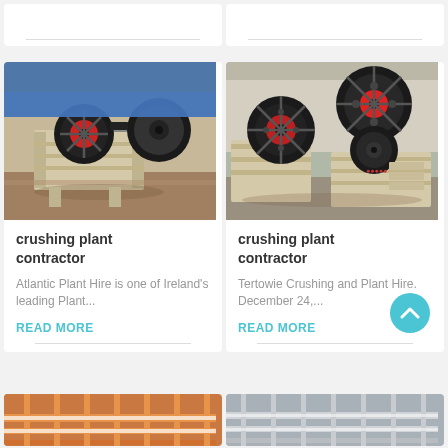[Figure (photo): Top partial card left — horizontal rule visible at bottom]
[Figure (photo): Top partial card right — horizontal rule visible at bottom]
[Figure (photo): Jaw crusher machine with red and black flywheels in a workshop, yellowish-cream body, blue machinery in background]
crushing plant contractor
Atlantic Plant Hire is one of Ireland's leading Plant...
READ MORE
[Figure (photo): Multiple jaw crusher machines with large black and red flywheels, cream-colored bodies, warehouse setting]
crushing plant contractor
Tertowie Crushing and Plant Hire. December 24,...
READ MORE
[Figure (photo): Bottom partial card left — orange/red industrial machinery structure]
[Figure (photo): Bottom partial card right — grey industrial machinery structure]